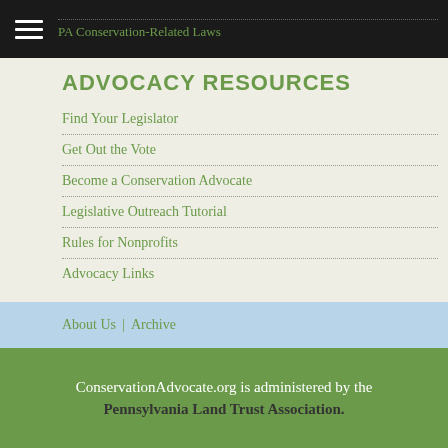PA Conservation-Related Laws
ADVOCACY RESOURCES
Find Your Legislator
Get Out the Vote
Become a Conservation Advocate
Legislative Outreach Tutorial
Rules for Nonprofits
Advocacy Links
About Us | Archive
ConservationAdvocate.org is administered by the Pennsylvania Land Trust Association.